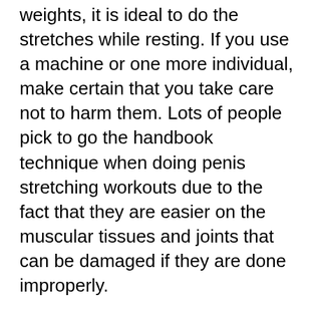weights, it is ideal to do the stretches while resting. If you use a machine or one more individual, make certain that you take care not to harm them. Lots of people pick to go the handbook technique when doing penis stretching workouts due to the fact that they are easier on the muscular tissues and joints that can be damaged if they are done improperly.
To start extending, you would certainly intend to start by pulling your penis straight out and also up till you had the ability to really feel the tension in the capillary. You would desire to repeat steps one and also 2 however pull your penis towards on your own till you felt extra tension in the blood vessels. Do this procedure a couple of times for each one and also from